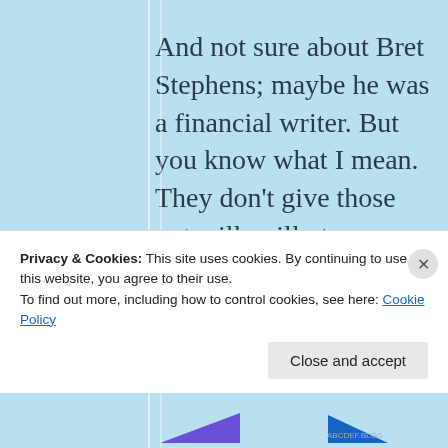And not sure about Bret Stephens; maybe he was a financial writer. But you know what I mean. They don't give those out willy nilly to conservatives. Mark Levin should get one as well as Bill O'Reilly
Privacy & Cookies: This site uses cookies. By continuing to use this website, you agree to their use. To find out more, including how to control cookies, see here: Cookie Policy
Close and accept